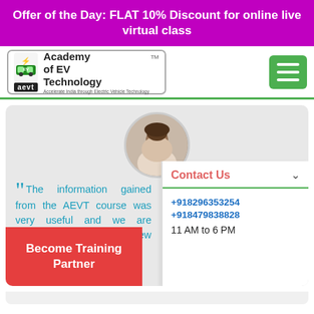Offer of the Day: FLAT 10% Discount for online live virtual class
[Figure (logo): Academy of EV Technology (AEVT) logo with car icon and lightning bolt]
[Figure (photo): Circular profile photo of Ben Curtis-Harris]
The information gained from the AEVT course was very useful and we are applying this to new projects.
- Ben Curtis-Harris, Industrial Solutions at Thyssenkrupp Engineering, London, United Ki...
Contact Us
+918296353254
+918479838828
11 AM to 6 PM
Become Training Partner